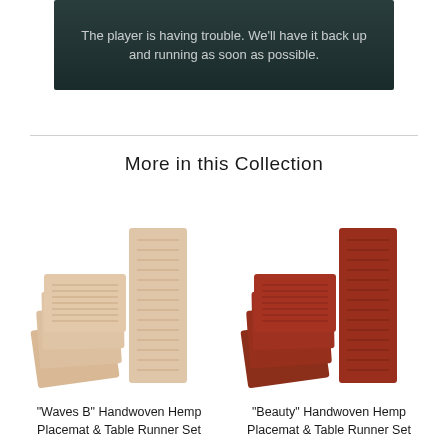[Figure (screenshot): Video player error banner showing text on dark teal background: 'The player is having trouble. We'll have it back up and running as soon as possible.']
More in this Collection
[Figure (photo): Beige/tan handwoven hemp placemats (stacked, fanned) and a matching table runner laid flat]
[Figure (photo): Red/terracotta handwoven hemp placemats (stacked, fanned) and a matching table runner laid flat]
"Waves B" Handwoven Hemp Placemat & Table Runner Set
"Beauty" Handwoven Hemp Placemat & Table Runner Set